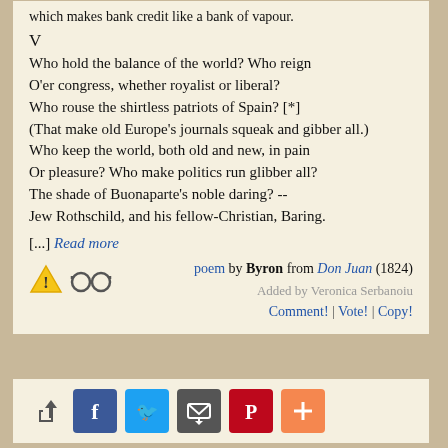which makes bank credit like a bank of vapour.
V
Who hold the balance of the world? Who reign
O'er congress, whether royalist or liberal?
Who rouse the shirtless patriots of Spain? [*]
(That make old Europe's journals squeak and gibber all.)
Who keep the world, both old and new, in pain
Or pleasure? Who make politics run glibber all?
The shade of Buonaparte's noble daring? --
Jew Rothschild, and his fellow-Christian, Baring.
[...] Read more
poem by Byron from Don Juan (1824)
Added by Veronica Serbanoiu
Comment! | Vote! | Copy!
[Figure (infographic): Social sharing buttons: share icon, Facebook, Twitter, Email, Pinterest, More (+)]